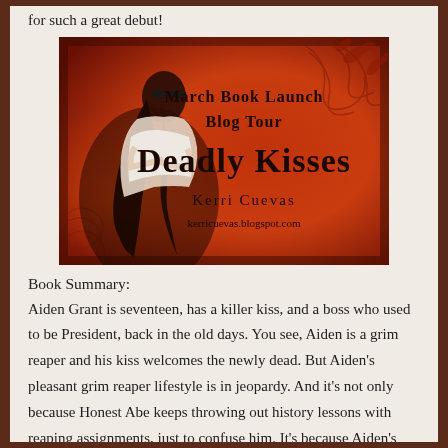for such a great debut!
[Figure (illustration): March Book Launch Blog Tour banner for 'Deadly Kisses' by Kerri Cuevas. Orange/red background with floral swirl design. A young woman with long dark hair and sunglasses on the left. Text reads: March Book Launch Blog Tour, Deadly Kisses, Kerri Cuevas, kerricuevas.blogspot.com]
Book Summary:
Aiden Grant is seventeen, has a killer kiss, and a boss who used to be President, back in the old days. You see, Aiden is a grim reaper and his kiss welcomes the newly dead. But Aiden's pleasant grim reaper lifestyle is in jeopardy. And it's not only because Honest Abe keeps throwing out history lessons with reaping assignments, just to confuse him. It's because Aiden's next assignment is to reap the soul of Bee, the only girl he has ever loved.When Aiden's kiss of death fails,